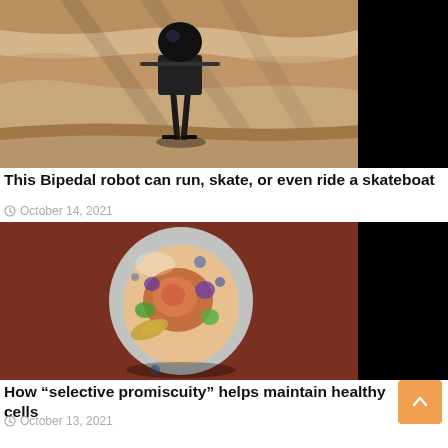[Figure (photo): A bipedal robot standing outdoors in a rocky desert canyon landscape with sandy rock formations in the background. The robot has a dark spherical head and thin leg struts. The right portion of the image is black.]
This Bipedal robot can run, skate, or even ride a skateboat
October 14, 2021
[Figure (photo): A glass marble or sphere showing a cross-section model of a cell with internal organelles rendered in colorful glass art. The sphere shows orange, purple, green, and yellow structures on a dark reddish-brown background. The right portion of the image is black.]
How “selective promiscuity” helps maintain healthy cells
October 13, 2021